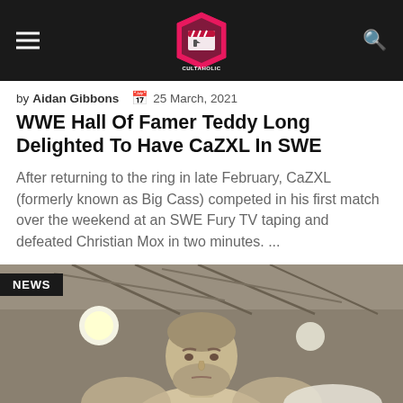Cultaholic
by Aidan Gibbons  25 March, 2021
WWE Hall Of Famer Teddy Long Delighted To Have CaZXL In SWE
After returning to the ring in late February, CaZXL (formerly known as Big Cass) competed in his first match over the weekend at an SWE Fury TV taping and defeated Christian Mox in two minutes. ...
[Figure (photo): A large bearded man (CaZXL / Big Cass) looking toward camera, standing in a wrestling venue with overhead lights and arena structure visible in background. A black NEWS badge is overlaid in the top-left corner of the image.]